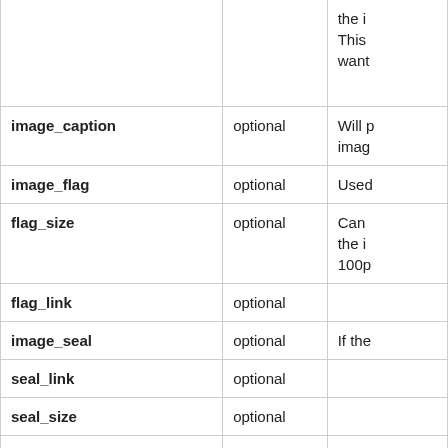| Parameter | Required/Optional | Description |
| --- | --- | --- |
|  |  | the i
This
want |
| image_caption | optional | Will p
imag |
| image_flag | optional | Used |
| flag_size | optional | Can
the i
100p |
| flag_link | optional |  |
| image_seal | optional | If the |
| seal_link | optional |  |
| seal_size | optional |  |
| image_shield | optional | Can
coat |